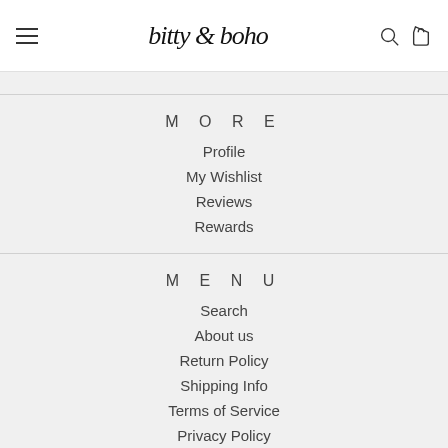bitty & boho
MORE
Profile
My Wishlist
Reviews
Rewards
MENU
Search
About us
Return Policy
Shipping Info
Terms of Service
Privacy Policy